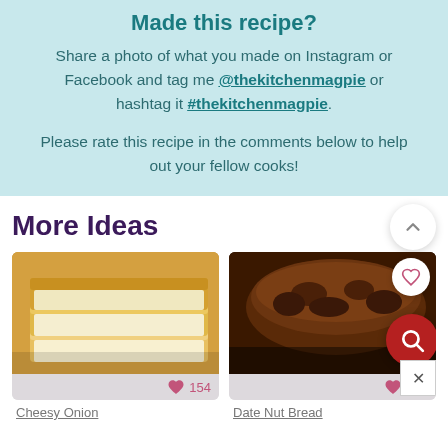Made this recipe?
Share a photo of what you made on Instagram or Facebook and tag me @thekitchenmagpie or hashtag it #thekitchenmagpie.
Please rate this recipe in the comments below to help out your fellow cooks!
More Ideas
[Figure (photo): Left card: sliced white/yellow bread loaf on a cutting board]
Cheesy Onion
[Figure (photo): Right card: dark date nut bread loaf]
Date Nut Bread